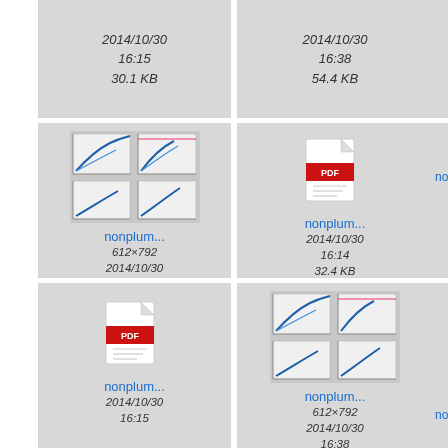[Figure (screenshot): Top row partial cells: two file entries showing dates 2014/10/30 16:15 / 30.1 KB and 2014/10/30 16:38 / 54.4 KB]
[Figure (screenshot): File browser grid cell: nonplum... chart thumbnail, 612x792, 2014/10/30 16:38, 56.4 KB]
[Figure (screenshot): File browser grid cell: nonplum... PDF icon, 2014/10/30 16:14, 32.4 KB]
[Figure (screenshot): File browser grid cell: nonplum... PDF icon, 2014/10/30 16:15]
[Figure (screenshot): File browser grid cell: nonplum... chart thumbnail, 612x792, 2014/10/30 16:38]